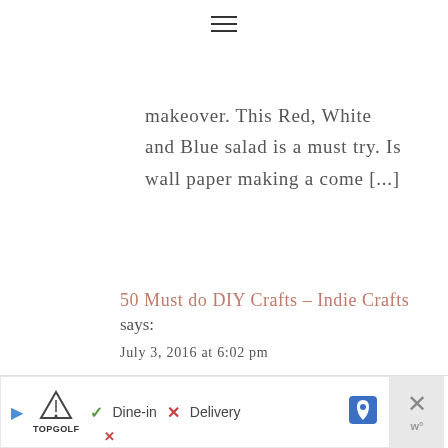☰
makeover. This Red, White and Blue salad is a must try. Is wall paper making a come [...]
50 Must do DIY Crafts – Indie Crafts
says:
July 3, 2016 at 6:02 pm
[...] See it here: 50 Must do DIY's